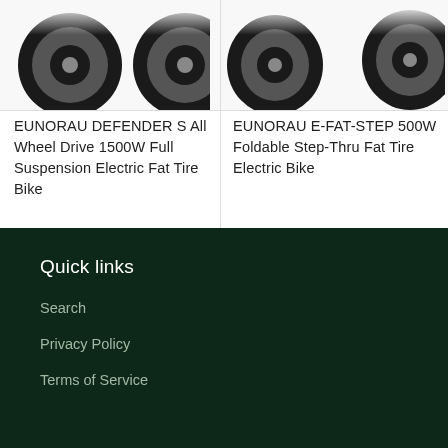[Figure (photo): Partial view of EUNORAU DEFENDER S electric fat tire bike (tire/wheel visible, cropped at top)]
[Figure (photo): Partial view of EUNORAU E-FAT-STEP electric fat tire bike (tire/wheel visible, cropped at top)]
EUNORAU DEFENDER S All Wheel Drive 1500W Full Suspension Electric Fat Tire Bike
From $2,799.00 USD
EUNORAU E-FAT-STEP 500W Foldable Step-Thru Fat Tire Electric Bike
$1,399.00 USD
Quick links
Search
Privacy Policy
Terms of Service